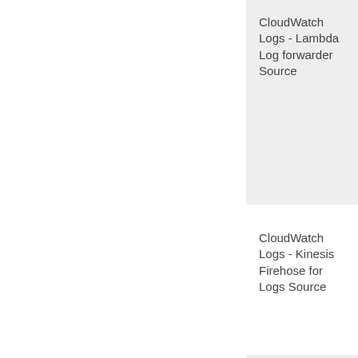| CloudWatch Logs - Lambda Log forwarder Source | C... Lo... R... |
| CloudWatch Logs - Kinesis Firehose for Logs Source | C... Lo... R... |